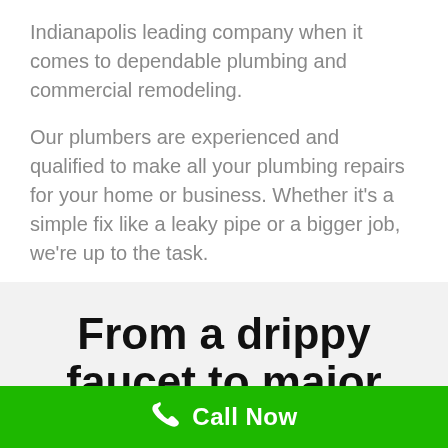Indianapolis leading company when it comes to dependable plumbing and commercial remodeling.
Our plumbers are experienced and qualified to make all your plumbing repairs for your home or business. Whether it's a simple fix like a leaky pipe or a bigger job, we're up to the task.
From a drippy faucet to major repairs, Mansfield Plumbing in
Call Now